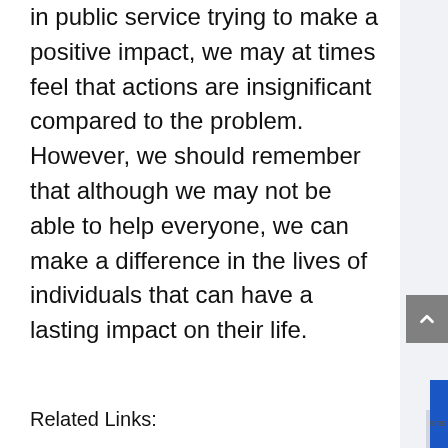in public service trying to make a positive impact, we may at times feel that actions are insignificant compared to the problem. However, we should remember that although we may not be able to help everyone, we can make a difference in the lives of individuals that can have a lasting impact on their life.
Related Links:
Facebook: legalservicesmiami
Twitter: _lsgmi_
Instagram: legalservices